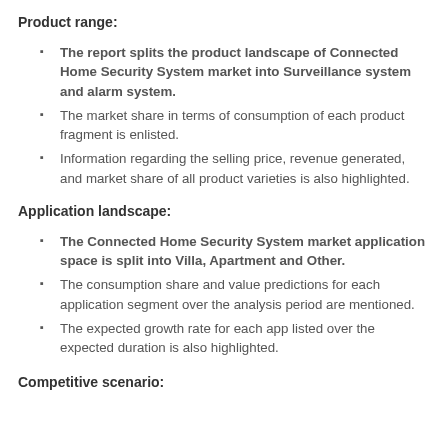Product range:
The report splits the product landscape of Connected Home Security System market into Surveillance system and alarm system.
The market share in terms of consumption of each product fragment is enlisted.
Information regarding the selling price, revenue generated, and market share of all product varieties is also highlighted.
Application landscape:
The Connected Home Security System market application space is split into Villa, Apartment and Other.
The consumption share and value predictions for each application segment over the analysis period are mentioned.
The expected growth rate for each app listed over the expected duration is also highlighted.
Competitive scenario: